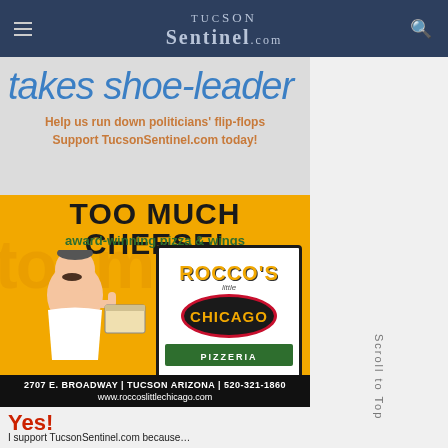TucsonSentinel.com
[Figure (infographic): TucsonSentinel.com promotional banner: 'takes shoe-leather' headline in blue italic, orange text reads 'Help us run down politicians' flip-flops Support TucsonSentinel.com today!']
[Figure (advertisement): Rocco's Little Chicago Pizzeria advertisement. Yellow background with 'TOO MUCH CHEESE!' headline, 'award-winning pizza & wings' subheading, cartoon man with thumbs up holding pizza, Rocco's Little Chicago Pizzeria logo. Address: 2707 E. Broadway | Tucson Arizona | 520-321-1860. Website: www.roccoslittlechicago.com]
Yes!
I support TucsonSentinel.com because...